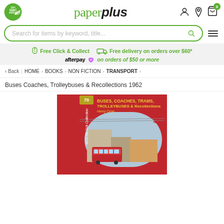[Figure (logo): Paper Plus website header with logo, search bar, and navigation icons]
Free Click & Collect   Free delivery on orders over $60*
afterpay on orders of $50 or more
< Back  |  HOME  >  BOOKS  >  NON FICTION  >  TRANSPORT  >
Buses Coaches, Trolleybuses & Recollections 1962
[Figure (photo): Book cover: Buses Coaches Trams Trolleybuses & Recollections 1962 by Henry Conn, Nostalgia Collection, showing a red double-decker tram/bus in a winter street scene]